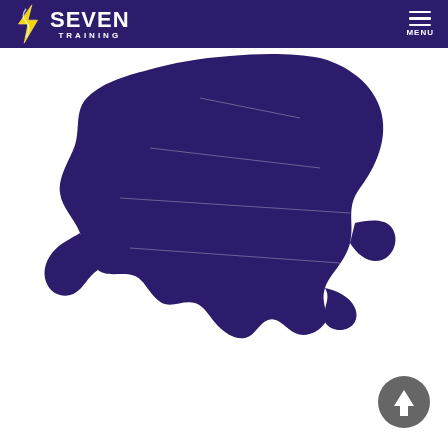[Figure (logo): Seven Training logo with lightning bolt icon and text]
[Figure (map): Dark navy/purple silhouette map of England showing regional boundaries]
[Figure (other): Scroll-to-top circular button with upward arrow, dark grey]